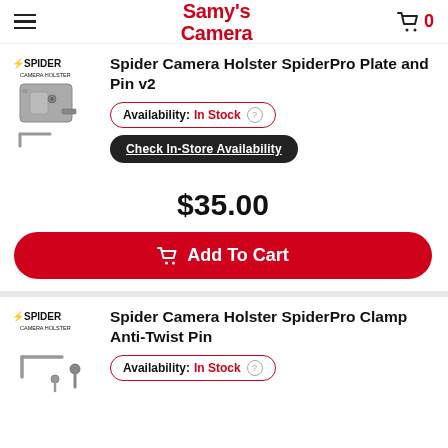Samy's Camera
[Figure (photo): Spider Camera Holster SpiderPro Plate and Pin v2 product image showing metal plate and hex key]
Spider Camera Holster SpiderPro Plate and Pin v2
Availability: In Stock
Check In-Store Availability
$35.00
Add To Cart
[Figure (photo): Spider Camera Holster SpiderPro Clamp Anti-Twist Pin product image showing hex key and pins]
Spider Camera Holster SpiderPro Clamp Anti-Twist Pin
Availability: In Stock